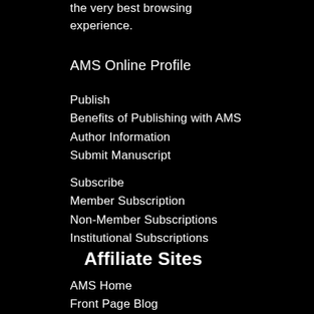the very best browsing experience.
AMS Online Profile
Publish
Benefits of Publishing with AMS
Author Information
Submit Manuscript
Subscribe
Member Subscription
Non-Member Subscriptions
Institutional Subscriptions
Affiliate Sites
AMS Home
Front Page Blog
Living on the Real World Blog